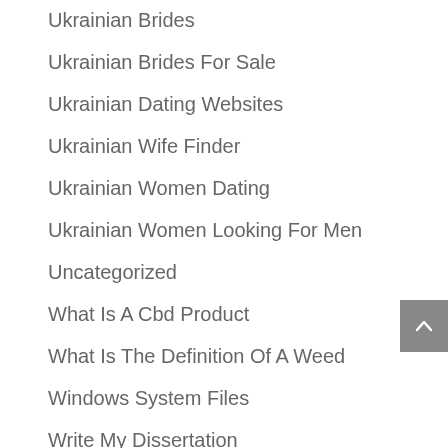Ukrainian Brides
Ukrainian Brides For Sale
Ukrainian Dating Websites
Ukrainian Wife Finder
Ukrainian Women Dating
Ukrainian Women Looking For Men
Uncategorized
What Is A Cbd Product
What Is The Definition Of A Weed
Windows System Files
Write My Dissertation
Write My Paper For Cheap
Write My Paper For Me